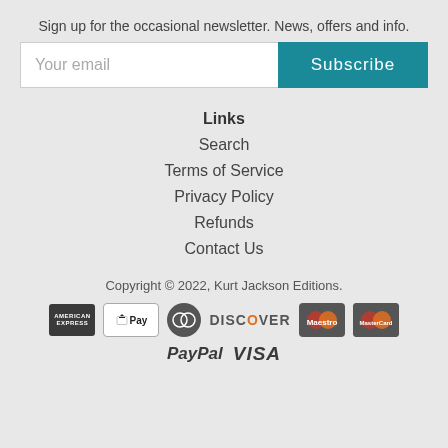Sign up for the occasional newsletter. News, offers and info.
Your email
Subscribe
Links
Search
Terms of Service
Privacy Policy
Refunds
Contact Us
Copyright © 2022, Kurt Jackson Editions.
[Figure (other): Payment method icons: American Express, Apple Pay, Diners Club, Discover, Maestro, Mastercard, PayPal, Visa]